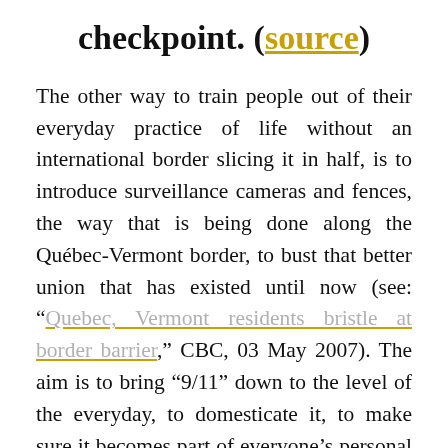checkpoint. (source)
The other way to train people out of their everyday practice of life without an international border slicing it in half, is to introduce surveillance cameras and fences, the way that is being done along the Québec-Vermont border, to bust that better union that has existed until now (see: “Quebec, Vermont residents bristle at border barrier,” CBC, 03 May 2007). The aim is to bring “9/11” down to the level of the everyday, to domesticate it, to make sure it becomes part of everyone’s personal vocabulary, to